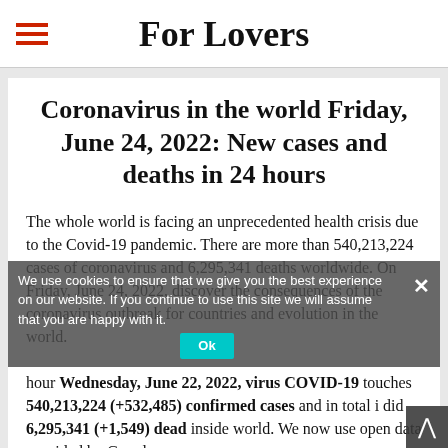For Lovers
Coronavirus in the world Friday, June 24, 2022: New cases and deaths in 24 hours
The whole world is facing an unprecedented health crisis due to the Covid-19 pandemic. There are more than 540,213,224 cases of coronavirus and 6,295,341 deaths worldwide. On Friday, June 24, 2022, discover the consequences of the coronavirus outbreak for countries and evolution in the world.
We use cookies to ensure that we give you the best experience on our website. If you continue to use this site we will assume that you are happy with it.
hour Wednesday, June 22, 2022, virus COVID-19 touches 540,213,224 (+532,485) confirmed cases and in total i did 6,295,341 (+1,549) dead inside world. We now use open data provided by Google.